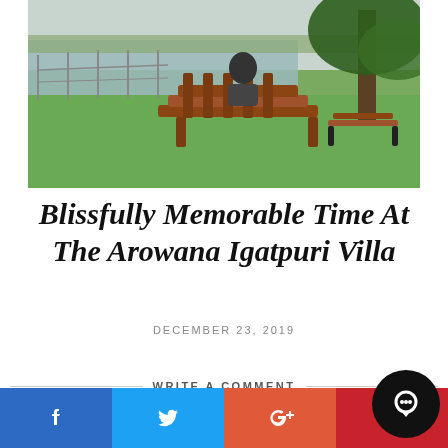[Figure (photo): Person sitting on a wooden bench facing a lake, with a tree overhead and green grass, another bench visible to the right.]
Blissfully Memorable Time At The Arowana Igatpuri Villa
DECEMBER 23, 2019
WRITE A COMMENT
[Figure (infographic): Social sharing bar with Facebook, Twitter, Google+, and Pinterest buttons, plus a circular chat button.]